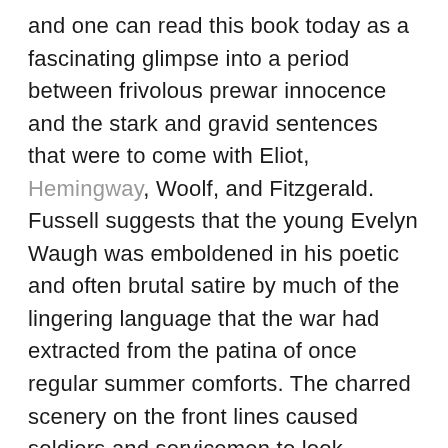and one can read this book today as a fascinating glimpse into a period between frivolous prewar innocence and the stark and gravid sentences that were to come with Eliot, Hemingway, Woolf, and Fitzgerald. Fussell suggests that the young Evelyn Waugh was emboldened in his poetic and often brutal satire by much of the lingering language that the war had extracted from the patina of once regular summer comforts. The charred scenery on the front lines caused soldiers and servicemen to look upward into the possibilities contained within the sky — itself a predominant fixation within Ruskin's Modern Painters — and not only did Waugh mimic this in the opening pages of his later novel, Officers and Gentlemen, but one cannot read John McCrae's "In Flanders Fields" without being acutely aware of the "sunset glow" or the sky serving as an anchor for the